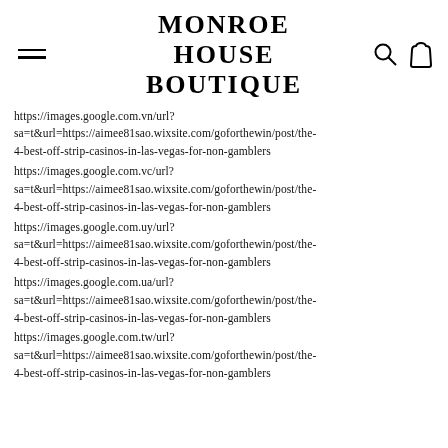MONROE HOUSE BOUTIQUE
https://images.google.com.vn/url?sa=t&url=https://aimee81sao.wixsite.com/goforthewin/post/the-4-best-off-strip-casinos-in-las-vegas-for-non-gamblers
https://images.google.com.vc/url?sa=t&url=https://aimee81sao.wixsite.com/goforthewin/post/the-4-best-off-strip-casinos-in-las-vegas-for-non-gamblers
https://images.google.com.uy/url?sa=t&url=https://aimee81sao.wixsite.com/goforthewin/post/the-4-best-off-strip-casinos-in-las-vegas-for-non-gamblers
https://images.google.com.ua/url?sa=t&url=https://aimee81sao.wixsite.com/goforthewin/post/the-4-best-off-strip-casinos-in-las-vegas-for-non-gamblers
https://images.google.com.tw/url?sa=t&url=https://aimee81sao.wixsite.com/goforthewin/post/the-4-best-off-strip-casinos-in-las-vegas-for-non-gamblers